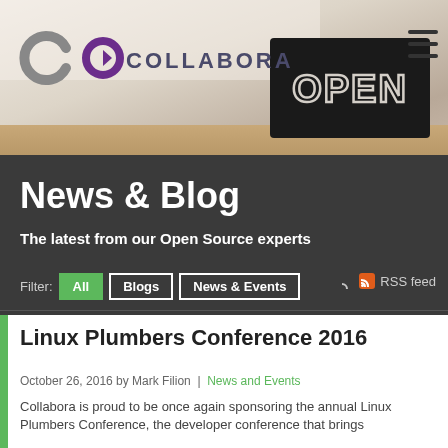[Figure (photo): Collabora website header with logo, hamburger menu, and background photo of a cafe with an 'OPEN' chalkboard sign]
News & Blog
The latest from our Open Source experts
Filter: All  Blogs  News & Events  RSS feed
Linux Plumbers Conference 2016
October 26, 2016 by Mark Filion | News and Events
Collabora is proud to be once again sponsoring the annual Linux Plumbers Conference, the developer conference that brings